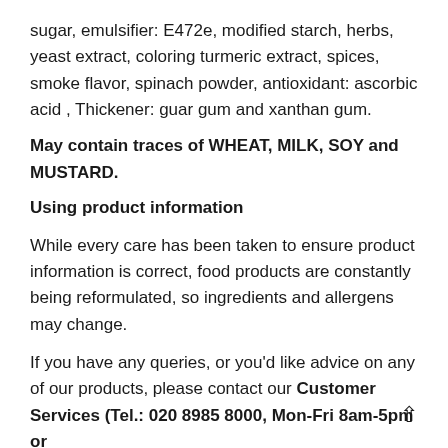sugar, emulsifier: E472e, modified starch, herbs, yeast extract, coloring turmeric extract, spices, smoke flavor, spinach powder, antioxidant: ascorbic acid , Thickener: guar gum and xanthan gum.
May contain traces of WHEAT, MILK, SOY and MUSTARD.
Using product information
While every care has been taken to ensure product information is correct, food products are constantly being reformulated, so ingredients and allergens may change.
If you have any queries, or you'd like advice on any of our products, please contact our Customer Services (Tel.: 020 8985 8000, Mon-Fri 8am-5pm or email: info@germandeli.co.uk ) or the product manufacturer.
Although product information is regularly updated, we are unable to accept liability for any incorrect information.